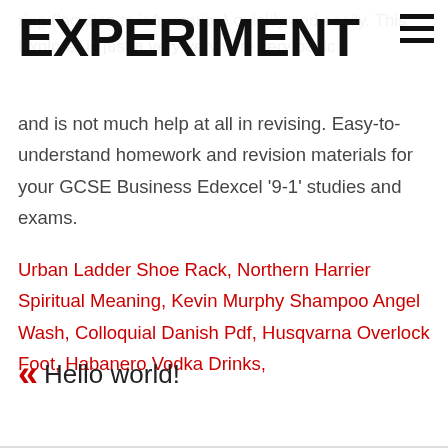EXPERIMENT
and is not much help at all in revising. Easy-to-understand homework and revision materials for your GCSE Business Edexcel '9-1' studies and exams.
Urban Ladder Shoe Rack, Northern Harrier Spiritual Meaning, Kevin Murphy Shampoo Angel Wash, Colloquial Danish Pdf, Husqvarna Overlock Foot, Habanero Vodka Drinks,
Hello world!